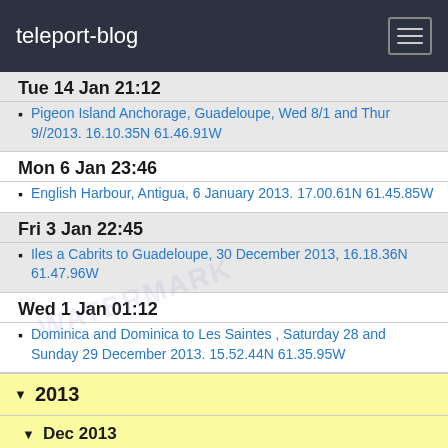teleport-blog
Tue 14 Jan 21:12
Pigeon Island Anchorage, Guadeloupe, Wed 8/1 and Thur 9//2013. 16.10.35N 61.46.91W
Mon 6 Jan 23:46
English Harbour, Antigua, 6 January 2013. 17.00.61N 61.45.85W
Fri 3 Jan 22:45
Iles a Cabrits to Guadeloupe, 30 December 2013, 16.18.36N 61.47.96W
Wed 1 Jan 01:12
Dominica and Dominica to Les Saintes , Saturday 28 and Sunday 29 December 2013. 15.52.44N 61.35.95W
2013
Dec 2013
Sun 29 Dec 13:05
Dominica 15 34.81 N 61 27.88 W